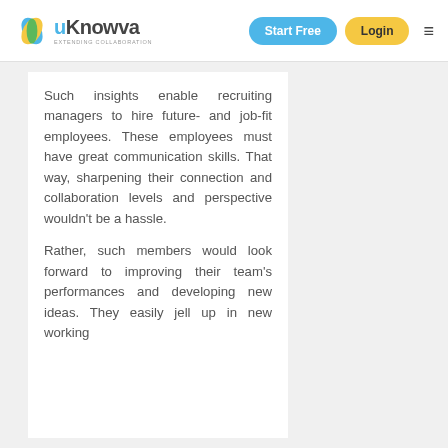uKnowva — EXTENDING COLLABORATION | Start Free | Login
Such insights enable recruiting managers to hire future- and job-fit employees. These employees must have great communication skills. That way, sharpening their connection and collaboration levels and perspective wouldn't be a hassle.
Rather, such members would look forward to improving their team's performances and developing new ideas. They easily jell up in new working